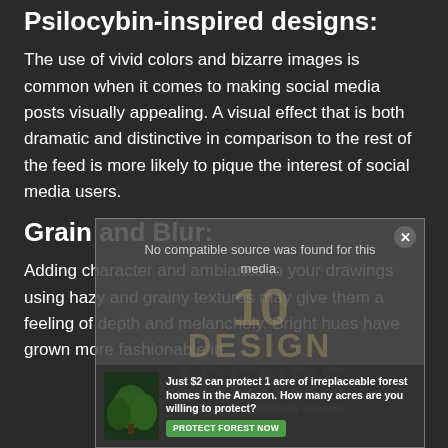Psilocybin-inspired designs:
The use of vivid colors and bizarre images is common when it comes to making social media posts visually appealing. A visual effect that is both dramatic and distinctive in comparison to the rest of the feed is more likely to pique the interest of social media users.
Grain and Blur:
Adding character and ambiance to your drawings using hazy and grainy textures may give them a feeling of depth and melancholy. Bright hues have grown more fashionable in
[Figure (screenshot): Video player overlay with 'No compatible source was found for this media.' message and watermark text '10 DESIGN TRENDS' with 'Anticipated by industry experts'. Below is an advertisement banner: 'Just $2 can protect 1 acre of irreplaceable forest homes in the Amazon. How many acres are you willing to protect?' with a green PROTECT FOREST NOW button.]